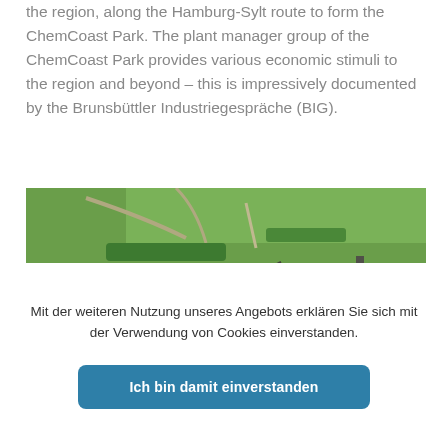the region, along the Hamburg-Sylt route to form the ChemCoast Park. The plant manager group of the ChemCoast Park provides various economic stimuli to the region and beyond – this is impressively documented by the Brunsbüttler Industriegespräche (BIG).
[Figure (photo): Aerial photograph of an industrial canal waterway with blue cylindrical silos/storage tanks on the left bank, industrial port facilities, and a red-hulled cargo ship navigating the canal. Green fields and roads are visible in the background.]
Mit der weiteren Nutzung unseres Angebots erklären Sie sich mit der Verwendung von Cookies einverstanden.
Ich bin damit einverstanden